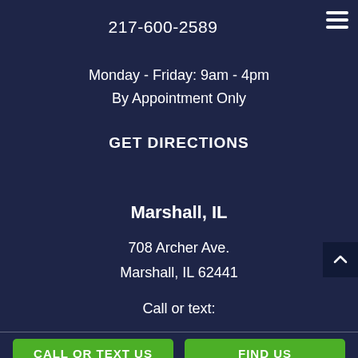217-600-2589
Monday - Friday: 9am - 4pm
By Appointment Only
GET DIRECTIONS
Marshall, IL
708 Archer Ave.
Marshall, IL 62441
Call or text:
CALL OR TEXT US
FIND US